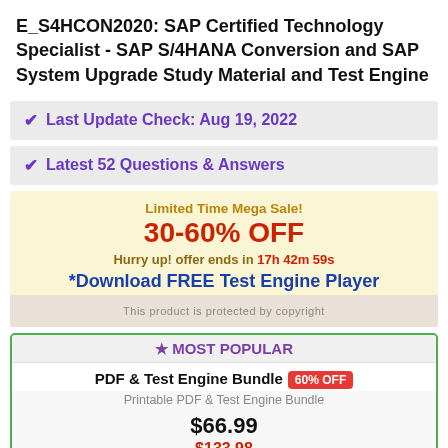E_S4HCON2020: SAP Certified Technology Specialist - SAP S/4HANA Conversion and SAP System Upgrade Study Material and Test Engine
✔ Last Update Check: Aug 19, 2022
✔ Latest 52 Questions & Answers
Limited Time Mega Sale! 30-60% OFF Hurry up! offer ends in 17h 42m 59s *Download FREE Test Engine Player
★ MOST POPULAR
PDF & Test Engine Bundle 60% OFF
Printable PDF & Test Engine Bundle
$66.99
$133.98
Add to Cart